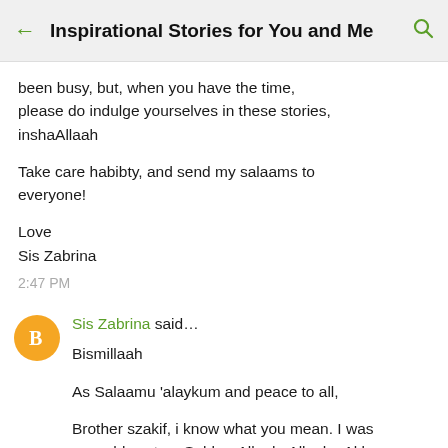Inspirational Stories for You and Me
been busy, but, when you have the time, please do indulge yourselves in these stories, inshaAllaah

Take care habibty, and send my salaams to everyone!

Love
Sis Zabrina

2:47 PM
Sis Zabrina said…

Bismillaah

As Salaamu 'alaykum and peace to all,

Brother szakif, i know what you mean. I was speechless too, SubhanAllaah, Allaahu Akbar, isnt He the Greatest?